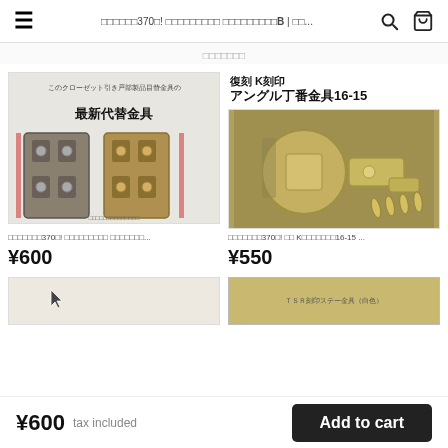≡  □□□□□□370□! □□□□□□□□□ □□□□□□□□□B | □□...  🔍  🛒
□□□□□□□
[Figure (photo): Product photo of metal hinges/closet door hardware with Japanese text '最新代替金具' (latest replacement hardware)]
[Figure (photo): Product photo of an angle T-hinge hardware set '復刻 K刻印 アングル丁番金具16-15' with screws]
□□□□□□□370□! □□□□□□□□□ □□□□□□...
¥600
□□□□□□□370□! □□ K□□□□□□□16-15 ...
¥550
[Figure (photo): Partial product image with cursor arrow visible at bottom left]
[Figure (photo): Partial product image showing text 'ＴＳＲ刻印ステー金具（白色）']
¥600  tax included    Add to cart